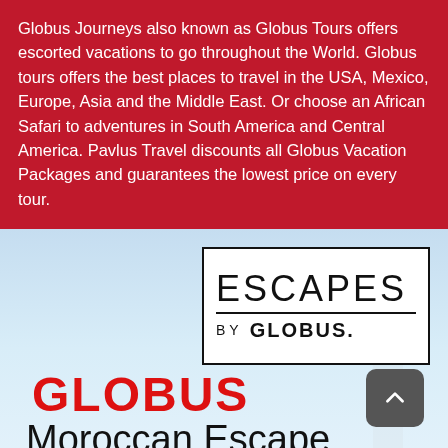Globus Journeys also known as Globus Tours offers escorted vacations to go throughout the World. Globus tours offers the best places to travel in the USA, Mexico, Europe, Asia and the Middle East. Or choose an African Safari to adventures in South America and Central America. Pavlus Travel discounts all Globus Vacation Packages and guarantees the lowest price on every tour.
[Figure (logo): Escapes by Globus logo — black outlined box with 'ESCAPES' in thin font above a horizontal rule and 'BY GLOBUS.' in bold below]
[Figure (logo): GLOBUS red bold logo text]
Moroccan Escape